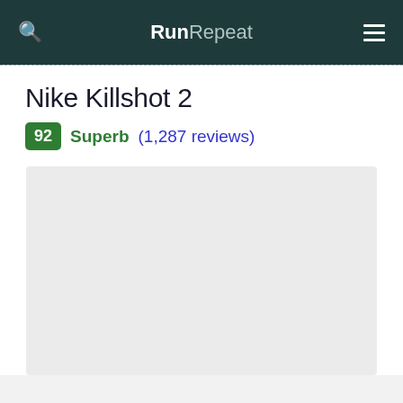RunRepeat
Nike Killshot 2
92 Superb (1,287 reviews)
[Figure (photo): Product image placeholder - light gray rectangle]
[Figure (photo): Secondary content panel - light gray rectangle]
Size $90 $67